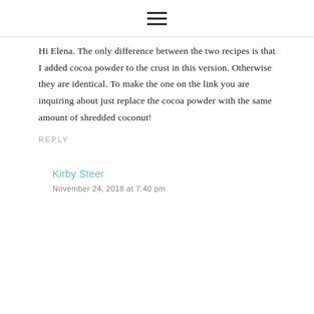Hi Elena. The only difference between the two recipes is that I added cocoa powder to the crust in this version. Otherwise they are identical. To make the one on the link you are inquiring about just replace the cocoa powder with the same amount of shredded coconut!
REPLY
Kirby Steer
November 24, 2018 at 7:40 pm